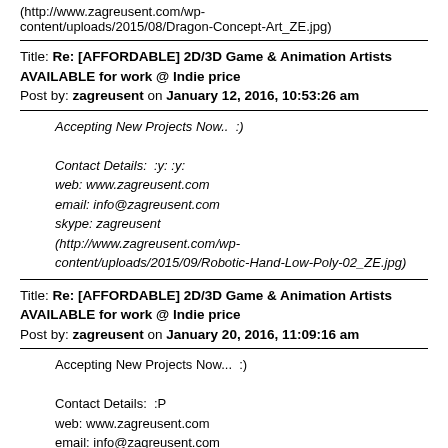(http://www.zagreusent.com/wp-content/uploads/2015/08/Dragon-Concept-Art_ZE.jpg)
Title: Re: [AFFORDABLE] 2D/3D Game & Animation Artists AVAILABLE for work @ Indie price
Post by: zagreusent on January 12, 2016, 10:53:26 am
Accepting New Projects Now..  :)

Contact Details:  :y: :y:
web: www.zagreusent.com
email: info@zagreusent.com
skype: zagreusent
(http://www.zagreusent.com/wp-content/uploads/2015/09/Robotic-Hand-Low-Poly-02_ZE.jpg)
Title: Re: [AFFORDABLE] 2D/3D Game & Animation Artists AVAILABLE for work @ Indie price
Post by: zagreusent on January 20, 2016, 11:09:16 am
Accepting New Projects Now...  :)

Contact Details:  :P
web: www.zagreusent.com
email: info@zagreusent.com
skype: zagreusent

(http://www.zagreusent.com/wp-content/uploads/2015/08/Give-